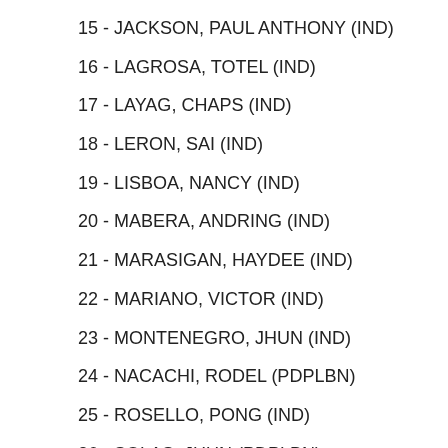15 - JACKSON, PAUL ANTHONY (IND)
16 - LAGROSA, TOTEL (IND)
17 - LAYAG, CHAPS (IND)
18 - LERON, SAI (IND)
19 - LISBOA, NANCY (IND)
20 - MABERA, ANDRING (IND)
21 - MARASIGAN, HAYDEE (IND)
22 - MARIANO, VICTOR (IND)
23 - MONTENEGRO, JHUN (IND)
24 - NACACHI, RODEL (PDPLBN)
25 - ROSELLO, PONG (IND)
26 - SOLAS, JHUN (PDPLBN)